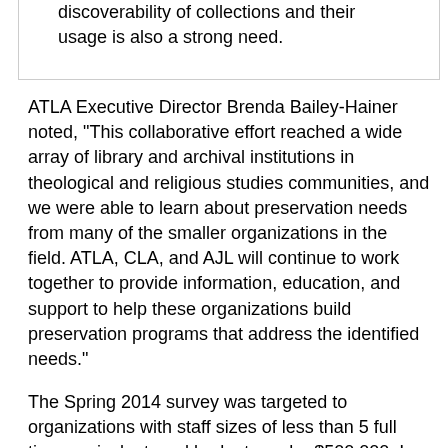discoverability of collections and their usage is also a strong need.
ATLA Executive Director Brenda Bailey-Hainer noted, "This collaborative effort reached a wide array of library and archival institutions in theological and religious studies communities, and we were able to learn about preservation needs from many of the smaller organizations in the field. ATLA, CLA, and AJL will continue to work together to provide information, education, and support to help these organizations build preservation programs that address the identified needs."
The Spring 2014 survey was targeted to organizations with staff sizes of less than 5 full time equivalent, and budgets under $500,000. In addition to ATLA, CLA, and AJL members, the project partners reached out to other religious libraries and archives. The resulting 235 responses represented one of the largest surveys on preservation and digital practices in theological and religious organizations which has ever been completed. Responses were received from a wide variety of organizations, including those which are part of educational institutions, organizations affiliated with churches, synagogues, or other houses of worship, independent libraries and archives, and various other types of theological and religious based